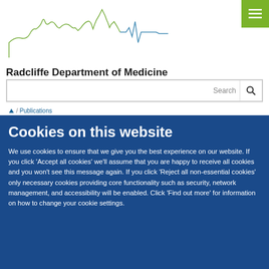[Figure (logo): Radcliffe Department of Medicine logo with skyline and ECG line graphic in green and blue]
Radcliffe Department of Medicine
Medical Sciences Division
[Figure (screenshot): Search bar with Search label and magnifying glass icon]
Home / Publications
Cookies on this website
We use cookies to ensure that we give you the best experience on our website. If you click 'Accept all cookies' we'll assume that you are happy to receive all cookies and you won't see this message again. If you click 'Reject all non-essential cookies' only necessary cookies providing core functionality such as security, network management, and accessibility will be enabled. Click 'Find out more' for information on how to change your cookie settings.